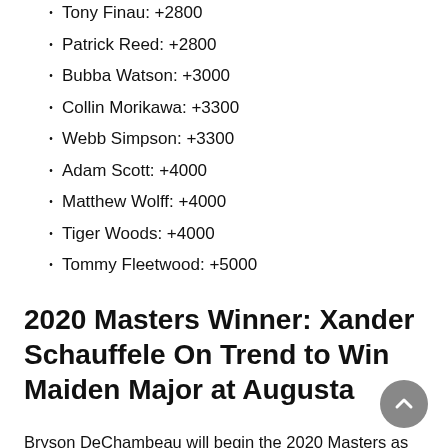Tony Finau: +2800
Patrick Reed: +2800
Bubba Watson: +3000
Collin Morikawa: +3300
Webb Simpson: +3300
Adam Scott: +4000
Matthew Wolff: +4000
Tiger Woods: +4000
Tommy Fleetwood: +5000
2020 Masters Winner: Xander Schauffele On Trend to Win Maiden Major at Augusta
Bryson DeChambeau will begin the 2020 Masters as slim favorite to beat Dustin Johnson to his second major of the year, but a field of 90 other top players hope to spark an